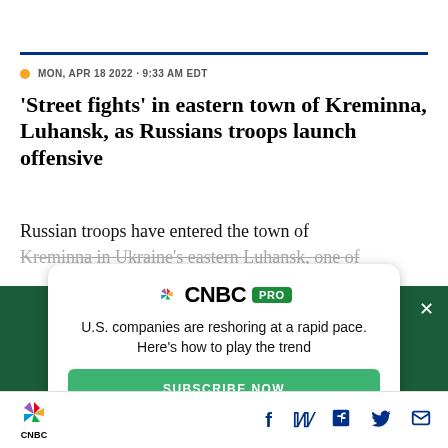MON, APR 18 2022 · 9:33 AM EDT
'Street fights' in eastern town of Kreminna, Luhansk, as Russians troops launch offensive
Russian troops have entered the town of Kreminna in Ukraine's eastern Luhansk, one of
[Figure (screenshot): CNBC PRO advertisement overlay on dark green background. Text reads: U.S. companies are reshoring at a rapid pace. Here's how to play the trend. Subscribe Now button.]
CNBC logo with social media icons: Facebook, Twitter, LinkedIn, Email